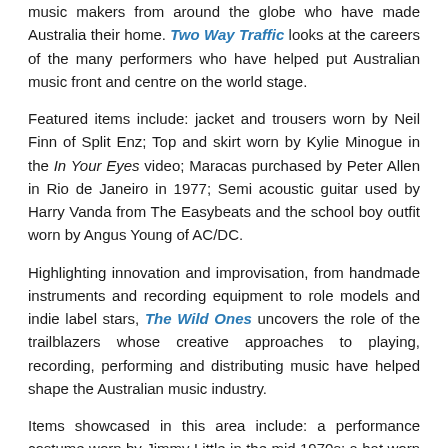music makers from around the globe who have made Australia their home. Two Way Traffic looks at the careers of the many performers who have helped put Australian music front and centre on the world stage.
Featured items include: jacket and trousers worn by Neil Finn of Split Enz; Top and skirt worn by Kylie Minogue in the In Your Eyes video; Maracas purchased by Peter Allen in Rio de Janeiro in 1977; Semi acoustic guitar used by Harry Vanda from The Easybeats and the school boy outfit worn by Angus Young of AC/DC.
Highlighting innovation and improvisation, from handmade instruments and recording equipment to role models and indie label stars, The Wild Ones uncovers the role of the trailblazers whose creative approaches to playing, recording, performing and distributing music have helped shape the Australian music industry.
Items showcased in this area include: a performance costume worn by Jimmy Little in the mid 1970s; a hat worn by Ian 'Molly'